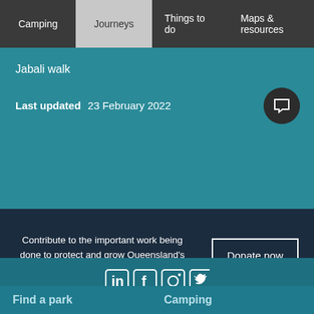Camping | Journeys | Things to do | Maps & resources
Jabali walk
Last updated  23 February 2022
Contribute to the important work being done to protect and grow Queensland's protected area system.
Donate now
[Figure (other): Social media icons: LinkedIn, Facebook, Instagram, Twitter]
Find a park
Camping